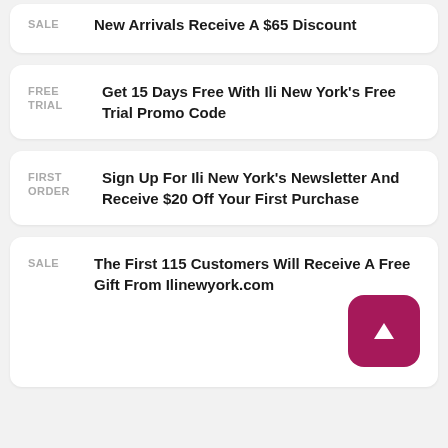SALE — New Arrivals Receive A $65 Discount
FREE TRIAL — Get 15 Days Free With Ili New York's Free Trial Promo Code
FIRST ORDER — Sign Up For Ili New York's Newsletter And Receive $20 Off Your First Purchase
SALE — The First 115 Customers Will Receive A Free Gift From Ilinewyork.com